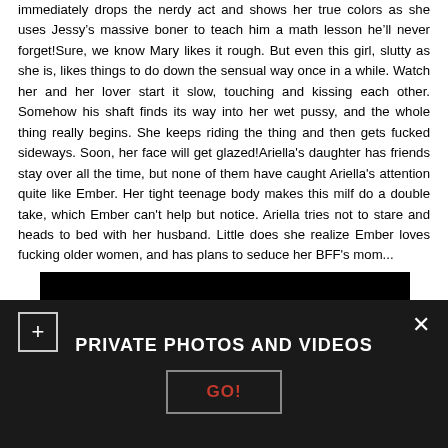immediately drops the nerdy act and shows her true colors as she uses Jessy's massive boner to teach him a math lesson he'll never forget!Sure, we know Mary likes it rough. But even this girl, slutty as she is, likes things to do down the sensual way once in a while. Watch her and her lover start it slow, touching and kissing each other. Somehow his shaft finds its way into her wet pussy, and the whole thing really begins. She keeps riding the thing and then gets fucked sideways. Soon, her face will get glazed!Ariella's daughter has friends stay over all the time, but none of them have caught Ariella's attention quite like Ember. Her tight teenage body makes this milf do a double take, which Ember can't help but notice. Ariella tries not to stare and heads to bed with her husband. Little does she realize Ember loves fucking older women, and has plans to seduce her BFF's mom...
[Figure (screenshot): Black image strip at bottom of content area]
PRIVATE PHOTOS AND VIDEOS
GO!